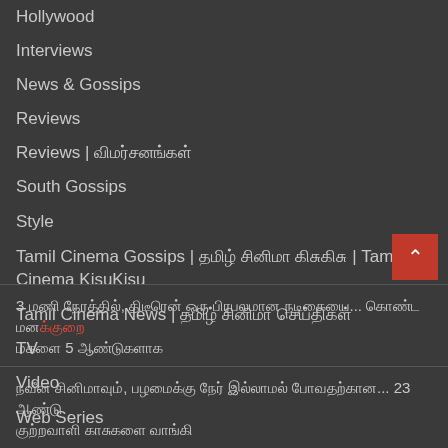Hollywood
Interviews
News & Gossips
Reviews
Reviews | விமர்சனங்கள்
South Gossips
Style
Tamil Cinema Gossips | தமிழ் சினிமா | Tamil Cinema KisuKisu
Tamil Cinema News | தமிழ் சினிமா
TV
Video
Web Series
3 மணி நேரத்தில், திடீரென் ஒரு பிரபலமான நடிகையை... கொண்ட மனக்குறை 5 ஆண்டுகளாக
நவீன சினிமாவும், பழமைக்கு தொடர் இல்லாமல் போவதற்கான... 23 ஆண்டு